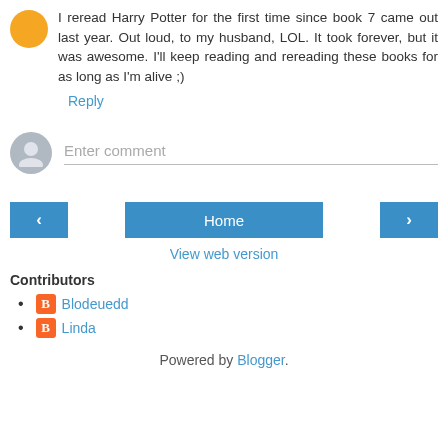I reread Harry Potter for the first time since book 7 came out last year. Out loud, to my husband, LOL. It took forever, but it was awesome. I'll keep reading and rereading these books for as long as I'm alive ;)
Reply
Enter comment
Home
View web version
Contributors
Blodeuedd
Linda
Powered by Blogger.